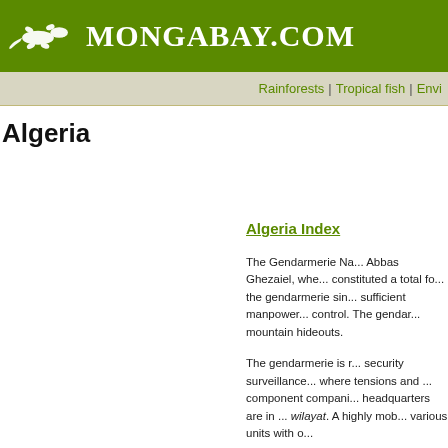MONGABAY.COM
Rainforests | Tropical fish | Envi...
Algeria
Algeria Index
The Gendarmerie Na... Abbas Ghezaiel, whe... constituted a total fo... the gendarmerie sin... sufficient manpower... control. The gendar... mountain hideouts.
The gendarmerie is r... security surveillance... where tensions and ... component compani... headquarters are in ... wilayat. A highly mob... various units with o...